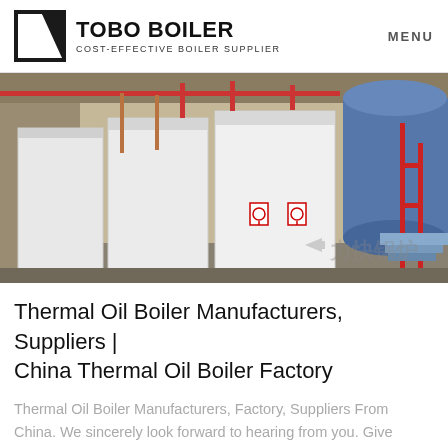TOBO BOILER COST-EFFECTIVE BOILER SUPPLIER | MENU
[Figure (photo): Industrial boiler room with large white rectangular boiler units in foreground and a large cylindrical blue boiler vessel in background. Red piping and metal structures visible. Watermark with Chinese characters visible in lower right corner.]
Thermal Oil Boiler Manufacturers, Suppliers | China Thermal Oil Boiler Factory
Thermal Oil Boiler Manufacturers, Factory, Suppliers From China. We sincerely look forward to hearing from you. Give